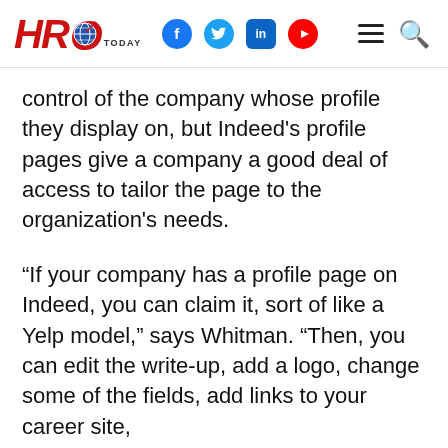HRO Today [logo with globe, social icons: Facebook, Twitter, LinkedIn, YouTube, hamburger menu, search]
control of the company whose profile they display on, but Indeed’s profile pages give a company a good deal of access to tailor the page to the organization’s needs.
“If your company has a profile page on Indeed, you can claim it, sort of like a Yelp model,” says Whitman. “Then, you can edit the write-up, add a logo, change some of the fields, add links to your career site,